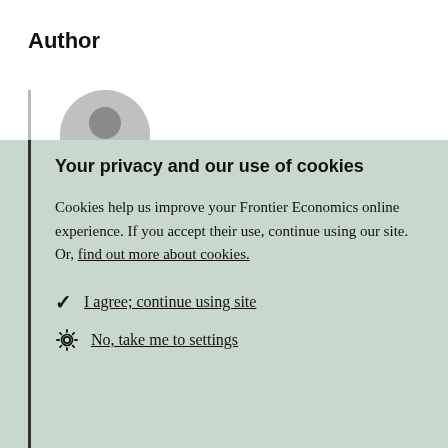Author
[Figure (photo): Circular avatar photo of a person (partial view), shown above the cookie consent overlay]
Your privacy and our use of cookies
Cookies help us improve your Frontier Economics online experience. If you accept their use, continue using our site. Or, find out more about cookies.
I agree; continue using site
No, take me to settings